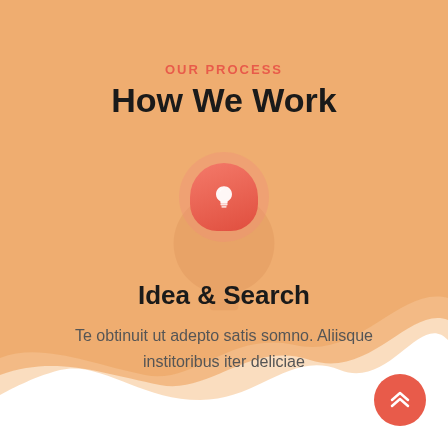OUR PROCESS
How We Work
[Figure (illustration): Red circular icon with a white lightbulb symbol, centered on the page]
Idea & Search
Te obtinuit ut adepto satis somno. Aliisque institoribus iter deliciae
[Figure (illustration): Red circular scroll-to-top button with double chevron up arrows, bottom right corner]